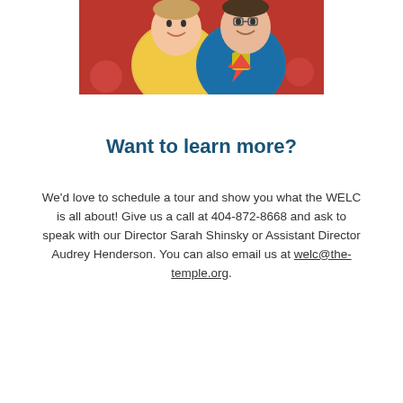[Figure (photo): Two smiling children hugging — one in a yellow puffy jacket, one in a blue Superman t-shirt — photographed at an indoor event with a red patterned floor visible in the background.]
Want to learn more?
We'd love to schedule a tour and show you what the WELC is all about! Give us a call at 404-872-8668 and ask to speak with our Director Sarah Shinsky or Assistant Director Audrey Henderson. You can also email us at welc@the-temple.org.